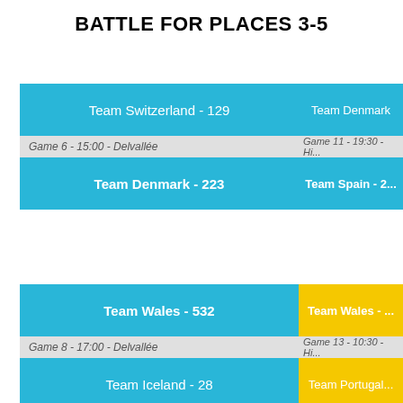BATTLE FOR PLACES 3-5
[Figure (flowchart): Tournament bracket showing 'Battle for Places 3-5'. Top bracket: Team Switzerland - 129 vs Team Denmark - 223, Game 6 - 15:00 - Delvallée, connecting to right side Game 11 - 19:30 - Hi... with Team Denmark (winner) vs Team Spain - 2... Bottom bracket: Team Wales - 532 vs Team Iceland - 28, Game 8 - 17:00 - Delvallée, connecting to right side Game 13 - 10:30 - Hi... with Team Wales (winner, yellow) vs Team Portugal (yellow).]